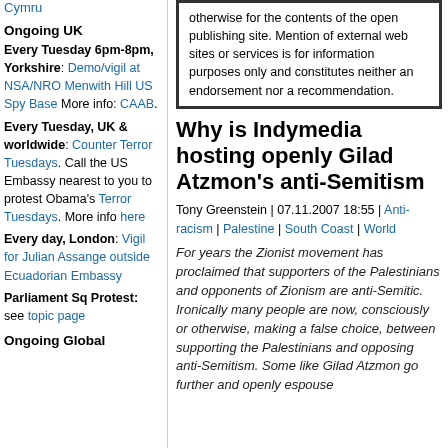Cymru
Ongoing UK
Every Tuesday 6pm-8pm, Yorkshire: Demo/vigil at NSA/NRO Menwith Hill US Spy Base More info: CAAB.
Every Tuesday, UK & worldwide: Counter Terror Tuesdays. Call the US Embassy nearest to you to protest Obama's Terror Tuesdays. More info here
Every day, London: Vigil for Julian Assange outside Ecuadorian Embassy
Parliament Sq Protest: see topic page
Ongoing Global
otherwise for the contents of the open publishing site. Mention of external web sites or services is for information purposes only and constitutes neither an endorsement nor a recommendation.
Why is Indymedia hosting openly Gilad Atzmon's anti-Semitism
Tony Greenstein | 07.11.2007 18:55 | Anti-racism | Palestine | South Coast | World
For years the Zionist movement has proclaimed that supporters of the Palestinians and opponents of Zionism are anti-Semitic. Ironically many people are now, consciously or otherwise, making a false choice, between supporting the Palestinians and opposing anti-Semitism. Some like Gilad Atzmon go further and openly espouse